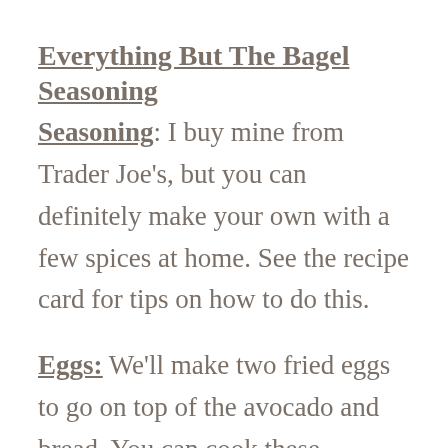Everything But The Bagel Seasoning
Seasoning: I buy mine from Trader Joe's, but you can definitely make your own with a few spices at home. See the recipe card for tips on how to do this.
Eggs: We'll make two fried eggs to go on top of the avocado and bread. You can cook these however you prefer - over easy, medium, over medium, runny yolks, or not - completely up to